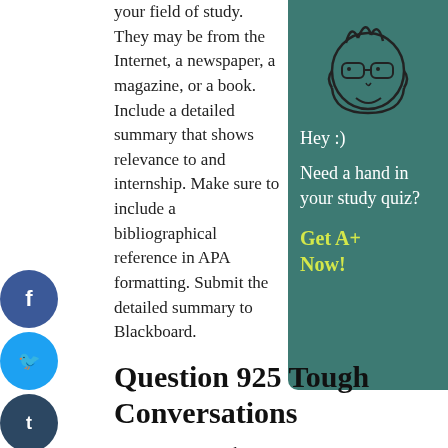your field of study. They may be from the Internet, a newspaper, a magazine, or a book. Include a detailed summary that shows relevance to and internship. Make sure to include a bibliographical reference in APA formatting. Submit the detailed summary to Blackboard.
[Figure (illustration): Cartoon mascot character with glasses and spiky hair on teal background sidebar]
Hey :)
Need a hand in your study quiz?
Get A+ Now!
Question 925 Tough Conversations
Imagine you are the HR manager at a company. A female employee came to you upset because a male coworker was creating a hostile environment by repeatedly asking her out even after she said "no". What would you do? Write a plan for how would you approach your conversation with each employee, including the most essential topics to cover. As you write your